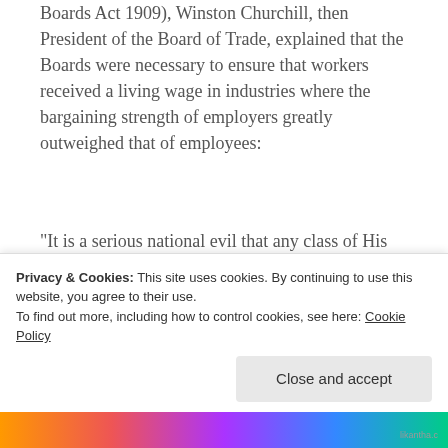Boards Act 1909), Winston Churchill, then President of the Board of Trade, explained that the Boards were necessary to ensure that workers received a living wage in industries where the bargaining strength of employers greatly outweighed that of employees:
“It is a serious national evil that any class of His Majesty’s subjects should receive less than a living wage in return for their utmost exertions. It was formerly supposed that the working of the laws of supply and demand
Privacy & Cookies: This site uses cookies. By continuing to use this website, you agree to their use.
To find out more, including how to control cookies, see here: Cookie Policy